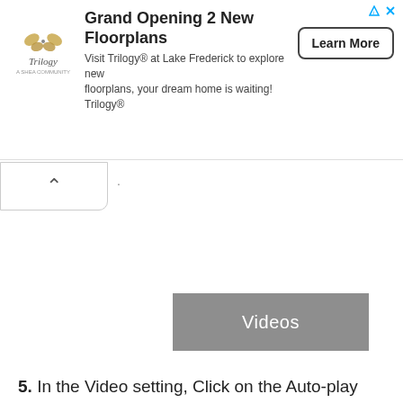[Figure (screenshot): Advertisement banner for Trilogy at Lake Frederick showing logo, headline 'Grand Opening 2 New Floorplans', body text, and Learn More button]
[Figure (screenshot): Collapse/chevron up button in a rounded box, with a dot separator to the right]
[Figure (screenshot): Gray 'Videos' button/tab]
5. In the Video setting, Click on the Auto-play